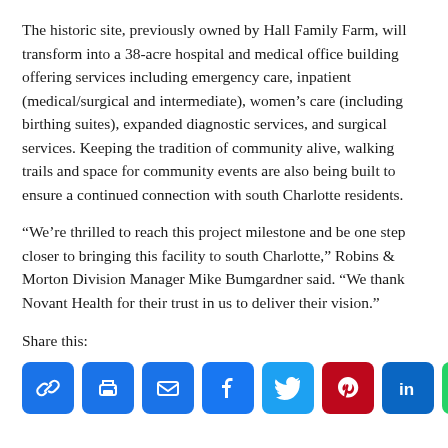The historic site, previously owned by Hall Family Farm, will transform into a 38-acre hospital and medical office building offering services including emergency care, inpatient (medical/surgical and intermediate), women's care (including birthing suites), expanded diagnostic services, and surgical services. Keeping the tradition of community alive, walking trails and space for community events are also being built to ensure a continued connection with south Charlotte residents.
“We’re thrilled to reach this project milestone and be one step closer to bringing this facility to south Charlotte,” Robins & Morton Division Manager Mike Bumgardner said. “We thank Novant Health for their trust in us to deliver their vision.”
Share this:
[Figure (infographic): Social sharing buttons row: Link, Print, Email, Facebook, Twitter, Pinterest, LinkedIn, WhatsApp, More]